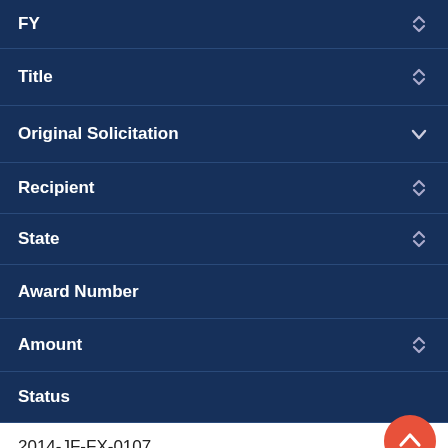FY
Title
Original Solicitation
Recipient
State
Award Number
Amount
Status
2014-JF-FX-0107
$8,491